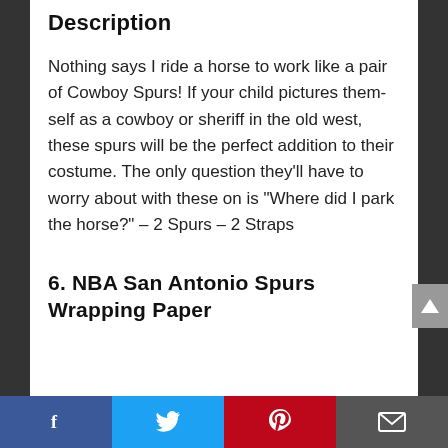Description
Nothing says I ride a horse to work like a pair of Cowboy Spurs! If your child pictures themself as a cowboy or sheriff in the old west, these spurs will be the perfect addition to their costume. The only question they’ll have to worry about with these on is “Where did I park the horse?” – 2 Spurs – 2 Straps
6. NBA San Antonio Spurs Wrapping Paper